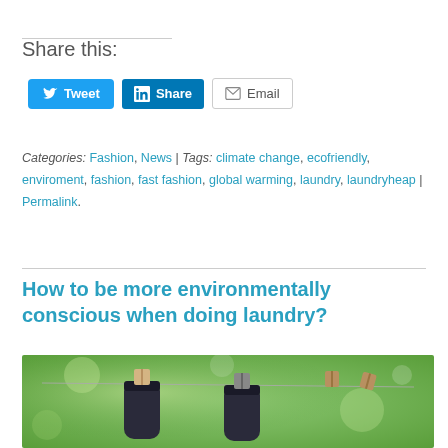Share this:
[Figure (other): Social share buttons: Tweet (Twitter/blue), Share (LinkedIn/blue), Email (grey outline)]
Categories: Fashion, News | Tags: climate change, ecofriendly, enviroment, fashion, fast fashion, global warming, laundry, laundryheap | Permalink.
How to be more environmentally conscious when doing laundry?
[Figure (photo): Dark socks hanging on a clothesline with wooden clothespins, against a blurred green outdoor background.]